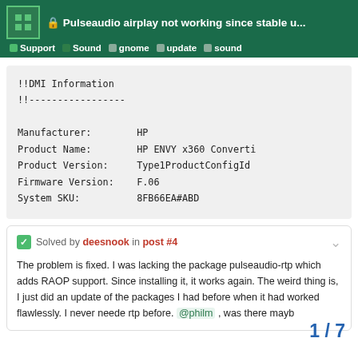🔒 Pulseaudio airplay not working since stable u... | Support | Sound | gnome | update | sound
!!DMI Information
!!-----------------

Manufacturer:            HP
Product Name:            HP ENVY x360 Converti
Product Version:         Type1ProductConfigId
Firmware Version:        F.06
System SKU:              8FB66EA#ABD
✅ Solved by deesnook in post #4
The problem is fixed. I was lacking the package pulseaudio-rtp which adds RAOP support. Since installing it, it works again. The weird thing is, I just did an update of the packages I had before when it had worked flawlessly. I never neede rtp before. @philm , was there mayb
1 / 7